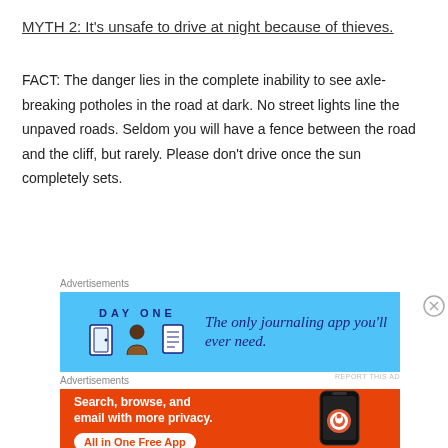MYTH 2: It's unsafe to drive at night because of thieves.
FACT: The danger lies in the complete inability to see axle-breaking potholes in the road at dark. No street lights line the unpaved roads. Seldom you will have a fence between the road and the cliff, but rarely. Please don't drive once the sun completely sets.
[Figure (infographic): Day One journaling app advertisement with blue background, app logo icons, and tagline 'The only journaling app you'll ever need.']
[Figure (infographic): DuckDuckGo app advertisement with orange background. Text: 'Search, browse, and email with more privacy. All in One Free App'. Shows a phone with DuckDuckGo logo.]